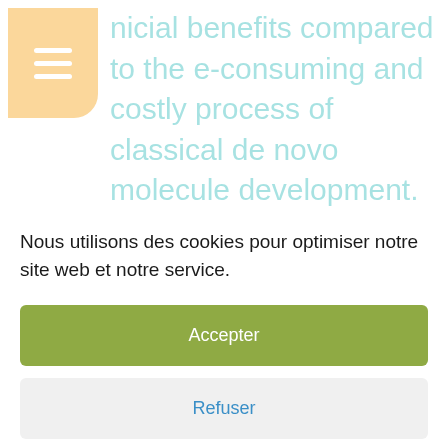nicial benefits compared to the e-consuming and costly process of classical de novo molecule development. Acute respiratory tract infections (ARTI) represent the main
Nous utilisons des cookies pour optimiser notre site web et notre service.
Accepter
Refuser
Préférences
Confidentialité